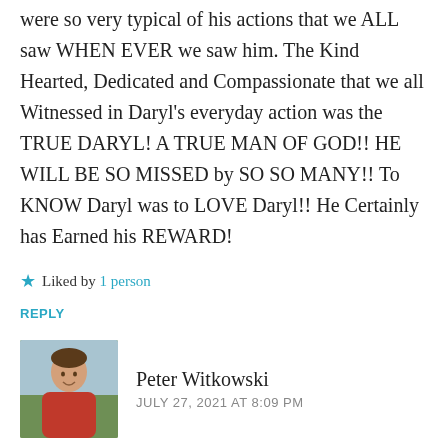were so very typical of his actions that we ALL saw WHEN EVER we saw him. The Kind Hearted, Dedicated and Compassionate that we all Witnessed in Daryl's everyday action was the TRUE DARYL! A TRUE MAN OF GOD!! HE WILL BE SO MISSED by SO SO MANY!! To KNOW Daryl was to LOVE Daryl!! He Certainly has Earned his REWARD!
★ Liked by 1 person
REPLY
[Figure (photo): Profile photo of Peter Witkowski, a man in a red shirt outdoors]
Peter Witkowski
JULY 27, 2021 AT 8:09 PM